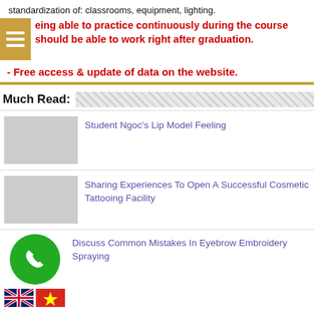standardization of: classrooms, equipment, lighting.
Being able to practice continuously during the course should be able to work right after graduation.
- Free access & update of data on the website.
Much Read:
Student Ngoc's Lip Model Feeling
Sharing Experiences To Open A Successful Cosmetic Tattooing Facility
Discuss Common Mistakes In Eyebrow Embroidery Spraying
[Figure (illustration): Green phone icon circle and flag icons for UK and Vietnam]